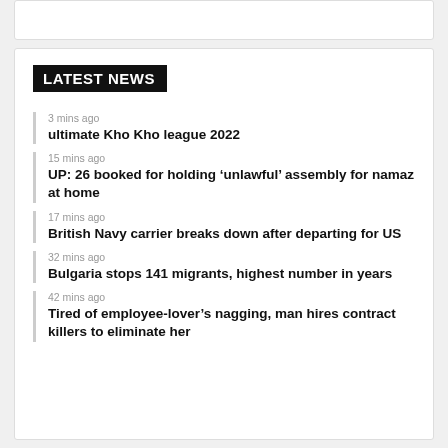LATEST NEWS
3 mins ago
ultimate Kho Kho league 2022
15 mins ago
UP: 26 booked for holding ‘unlawful’ assembly for namaz at home
17 mins ago
British Navy carrier breaks down after departing for US
32 mins ago
Bulgaria stops 141 migrants, highest number in years
42 mins ago
Tired of employee-lover’s nagging, man hires contract killers to eliminate her